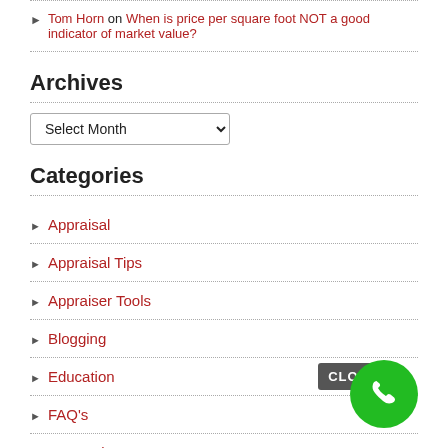Tom Horn on When is price per square foot NOT a good indicator of market value?
Archives
Select Month (dropdown)
Categories
Appraisal
Appraisal Tips
Appraiser Tools
Blogging
Education
FAQ's
FSBO Tips